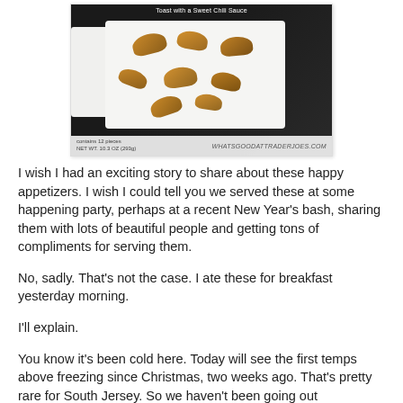[Figure (photo): Product photo of Trader Joe's appetizers (wontons/dumplings) on white trays against dark background, with watermark WHATSGOODATTRADERJOES.COM and text 'Toast with a Sweet Chili Sauce', 'contains 12 pieces', 'NET WT. 10.3 OZ (293g)']
I wish I had an exciting story to share about these happy appetizers. I wish I could tell you we served these at some happening party, perhaps at a recent New Year's bash, sharing them with lots of beautiful people and getting tons of compliments for serving them.
No, sadly. That's not the case. I ate these for breakfast yesterday morning.
I'll explain.
You know it's been cold here. Today will see the first temps above freezing since Christmas, two weeks ago. That's pretty rare for South Jersey. So we haven't been going out